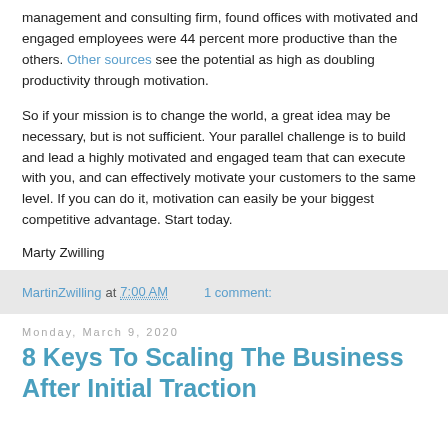management and consulting firm, found offices with motivated and engaged employees were 44 percent more productive than the others. Other sources see the potential as high as doubling productivity through motivation.
So if your mission is to change the world, a great idea may be necessary, but is not sufficient. Your parallel challenge is to build and lead a highly motivated and engaged team that can execute with you, and can effectively motivate your customers to the same level. If you can do it, motivation can easily be your biggest competitive advantage. Start today.
Marty Zwilling
MartinZwilling at 7:00 AM   1 comment:
Monday, March 9, 2020
8 Keys To Scaling The Business After Initial Traction